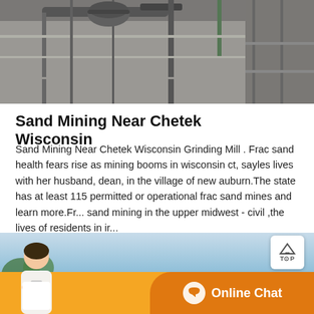[Figure (photo): Industrial/construction scene showing concrete structures with pipes and cables at the top of the page]
Sand Mining Near Chetek Wisconsin
Sand Mining Near Chetek Wisconsin Grinding Mill . Frac sand health fears rise as mining booms in wisconsin ct, sayles lives with her husband, dean, in the village of new auburn.The state has at least 115 permitted or operational frac sand mines and learn more.Fr... sand mining in the upper midwest - civil ,the lives of residents in ir...
[Figure (screenshot): Get Price button with orange background and red left accent bar; TOP button overlay in the upper right area]
[Figure (photo): Bottom banner with blue sky background, customer service representative photo on the left, orange bar with Message and Online Chat buttons]